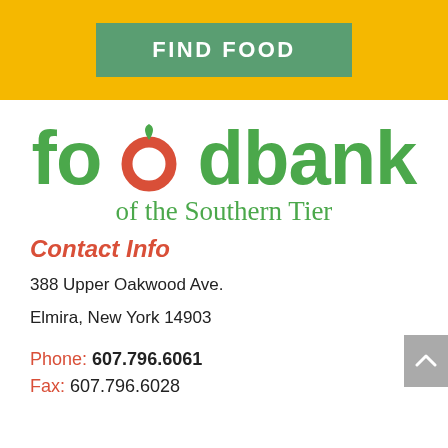FIND FOOD
[Figure (logo): Food Bank of the Southern Tier logo — 'foodbank' in large green letters with a red 'o' bearing a leaf, and 'of the Southern Tier' below in green]
Contact Info
388 Upper Oakwood Ave.
Elmira, New York 14903
Phone: 607.796.6061
Fax: 607.796.6028